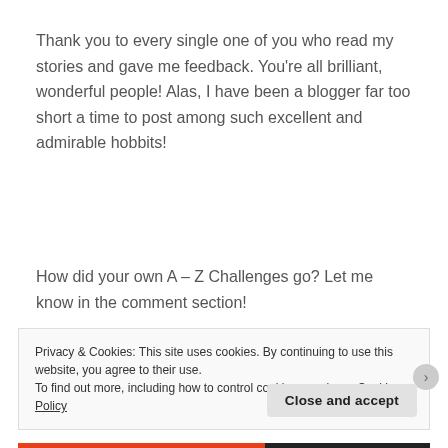Thank you to every single one of you who read my stories and gave me feedback. You're all brilliant, wonderful people! Alas, I have been a blogger far too short a time to post among such excellent and admirable hobbits!
How did your own A – Z Challenges go? Let me know in the comment section!
Privacy & Cookies: This site uses cookies. By continuing to use this website, you agree to their use.
To find out more, including how to control cookies, see here: Cookie Policy
Close and accept